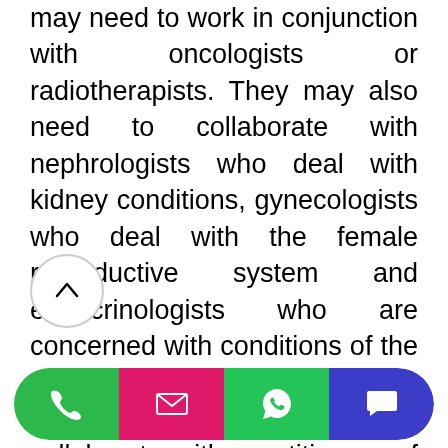may need to work in conjunction with oncologists or radiotherapists. They may also need to collaborate with nephrologists who deal with kidney conditions, gynecologists who deal with the female reproductive system and endocrinologists who are concerned with conditions of the endocrine system and hormone disorders. Urologists may also collaborate with practitioners of pediatric surgery and colorectal surgery. Urologists undergo post-graduate training for five years, completing 12 months in general surgery and 36 months in clinical urology. The remaining time is spent training in gynecological urology and other areas.
There are several specialist areas that